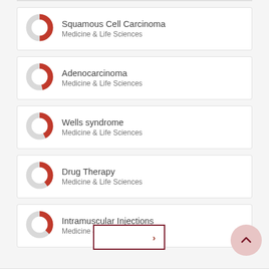Squamous Cell Carcinoma
Medicine & Life Sciences
Adenocarcinoma
Medicine & Life Sciences
Wells syndrome
Medicine & Life Sciences
Drug Therapy
Medicine & Life Sciences
Intramuscular Injections
Medicine & Life Sciences